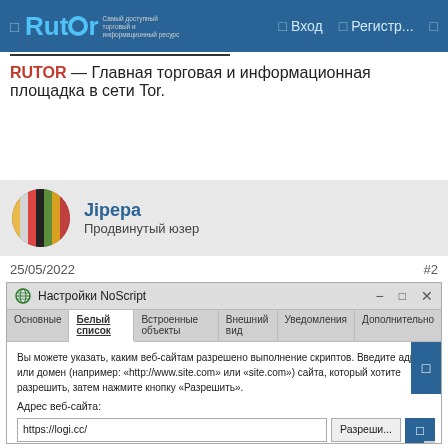Rutor — navigation bar with Вход, Регистр...
RUTOR — Главная торговая и информационная площадка в сети Tor.
Jipepa
Продвинутый юзер
25/05/2022   #2
[Figure (screenshot): NoScript Settings dialog screenshot showing Белый список tab active, with whitelist instructions in Russian, address field containing https://logi.cc/, and a Разрешить button. Tabs: Основные, Белый список, Встроенные объекты, Внешний вид, Уведомления, Дополнительно.]